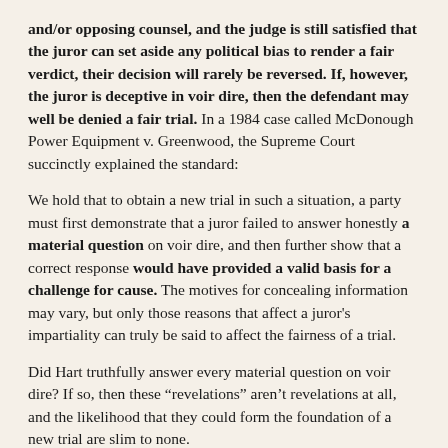and/or opposing counsel, and the judge is still satisfied that the juror can set aside any political bias to render a fair verdict, their decision will rarely be reversed. If, however, the juror is deceptive in voir dire, then the defendant may well be denied a fair trial. In a 1984 case called McDonough Power Equipment v. Greenwood, the Supreme Court succinctly explained the standard:
We hold that to obtain a new trial in such a situation, a party must first demonstrate that a juror failed to answer honestly a material question on voir dire, and then further show that a correct response would have provided a valid basis for a challenge for cause. The motives for concealing information may vary, but only those reasons that affect a juror's impartiality can truly be said to affect the fairness of a trial.
Did Hart truthfully answer every material question on voir dire? If so, then these “revelations” aren’t revelations at all, and the likelihood that they could form the foundation of a new trial are slim to none.